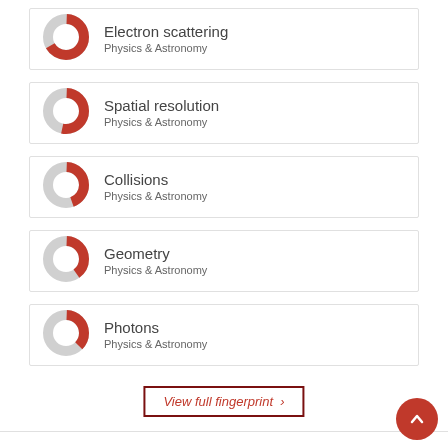Electron scattering — Physics & Astronomy
Spatial resolution — Physics & Astronomy
Collisions — Physics & Astronomy
Geometry — Physics & Astronomy
Photons — Physics & Astronomy
View full fingerprint ›